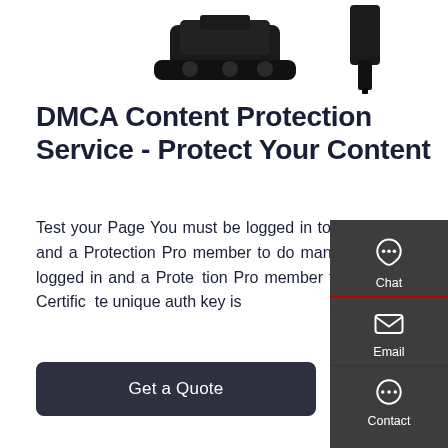[Figure (photo): Partial view of robotic tracked vehicle machinery at the top of the page]
DMCA Content Protection Service - Protect Your Content
Test your Page You must be logged in to run a page validation test. Click to login. Reprocess You must be logged in and a Protection Pro member to do manual rescans. Click to login.For more info visit the FAQ. Delete You must be logged in and a Protection Pro member to do manual deletions. Click to login.For more info visit the FAQ. Auth Key Certificate unique auth key is
[Figure (infographic): Dark sidebar with Chat, Email, and Contact icons and labels]
Get a Quote